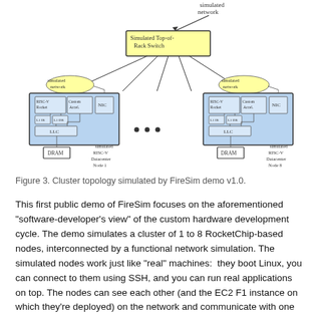[Figure (network-graph): Hand-drawn diagram of a cluster topology. At the top is a 'Simulated network' arrow pointing to a yellow-highlighted box labeled 'Simulated Top-of-Rack Switch'. From the switch, lines fan out downward to multiple nodes. On the left is 'Simulated RISC-V Datacenter Node 1' showing RISC-V Rocket, Custom Accel, NIC, LLC, L1IB, L1DB components in blue, and DRAM below. On the right is 'Simulated RISC-V Datacenter Node 8' with the same internal structure. In between are ellipsis dots indicating more nodes. Nodes connect to the switch via 'Simulated network' bubbles.]
Figure 3. Cluster topology simulated by FireSim demo v1.0.
This first public demo of FireSim focuses on the aforementioned “software-developer’s view” of the custom hardware development cycle. The demo simulates a cluster of 1 to 8 RocketChip-based nodes, interconnected by a functional network simulation. The simulated nodes work just like “real” machines:  they boot Linux, you can connect to them using SSH, and you can run real applications on top. The nodes can see each other (and the EC2 F1 instance on which they’re deployed) on the network and communicate with one another. While the demo currently